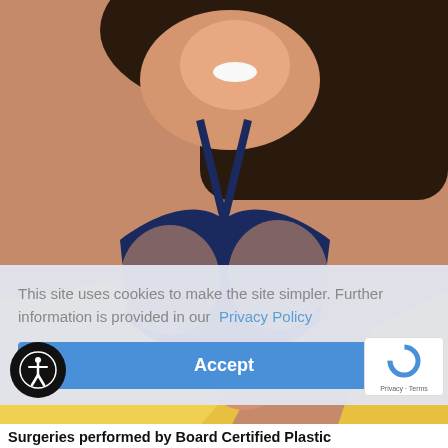[Figure (photo): Woman smiling wearing a dark navy blue bikini top and holding a yellow wrap/fabric, beach background with sky and water visible. Cropped from shoulders to chest/torso. Plastic surgery / body image promotional photo.]
This site uses cookies to make the site simpler. Further information is provided in our  Privacy Policy
Accept
Surgeries performed by Board Certified Plastic